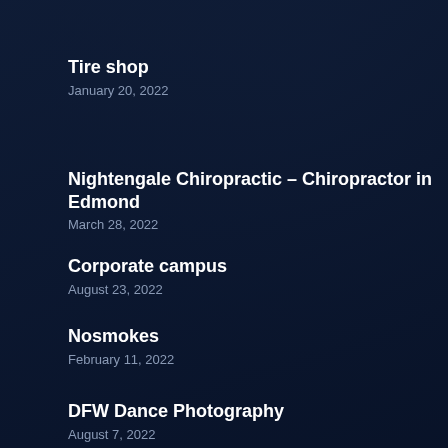Tire shop
January 20, 2022
Nightengale Chiropractic – Chiropractor in Edmond
March 28, 2022
Corporate campus
August 23, 2022
Nosmokes
February 11, 2022
DFW Dance Photography
August 7, 2022